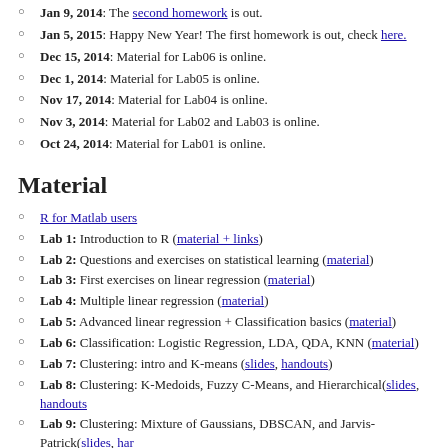Jan 9, 2014: The second homework is out.
Jan 5, 2015: Happy New Year! The first homework is out, check here.
Dec 15, 2014: Material for Lab06 is online.
Dec 1, 2014: Material for Lab05 is online.
Nov 17, 2014: Material for Lab04 is online.
Nov 3, 2014: Material for Lab02 and Lab03 is online.
Oct 24, 2014: Material for Lab01 is online.
Material
R for Matlab users
Lab 1: Introduction to R (material + links)
Lab 2: Questions and exercises on statistical learning (material)
Lab 3: First exercises on linear regression (material)
Lab 4: Multiple linear regression (material)
Lab 5: Advanced linear regression + Classification basics (material)
Lab 6: Classification: Logistic Regression, LDA, QDA, KNN (material)
Lab 7: Clustering: intro and K-means (slides, handouts)
Lab 8: Clustering: K-Medoids, Fuzzy C-Means, and Hierarchical(slides, handouts)
Lab 9: Clustering: Mixture of Gaussians, DBSCAN, and Jarvis-Patrick(slides, han
Lab 10: Clustering: evaluation (slides, handouts, spectral Clustering)